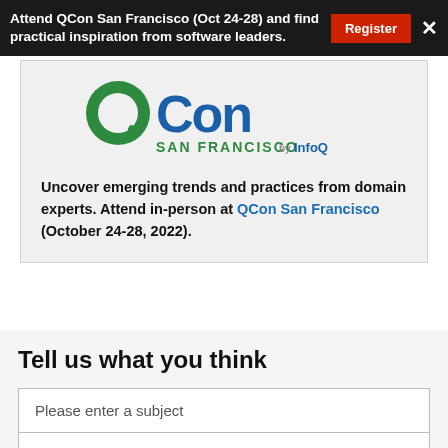Attend QCon San Francisco (Oct 24-28) and find practical inspiration from software leaders.
[Figure (logo): QCon San Francisco by InfoQ logo — QCon in large blue/green letters, SAN FRANCISCO in green, by InfoQ in blue]
Uncover emerging trends and practices from domain experts. Attend in-person at QCon San Francisco (October 24-28, 2022).
Tell us what you think
Please enter a subject
Message